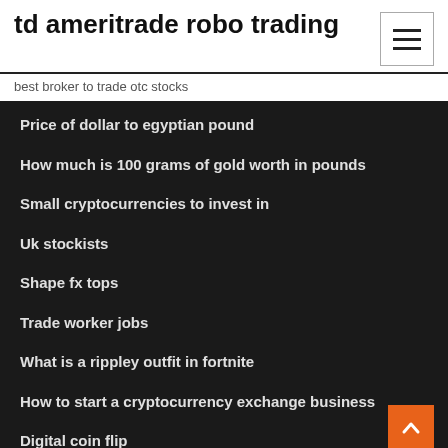td ameritrade robo trading
best broker to trade otc stocks
Price of dollar to egyptian pound
How much is 100 grams of gold worth in pounds
Small cryptocurrencies to invest in
Uk stockists
Shape fx tops
Trade worker jobs
What is a rippley outfit in fortnite
How to start a cryptocurrency exchange business
Digital coin flip
Is bitcoin mining worth it reddit